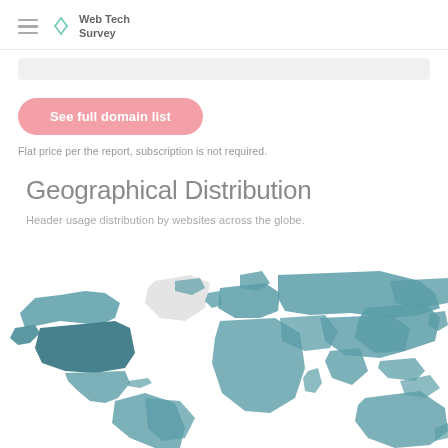Web Tech Survey
See full domain list
Flat price per the report, subscription is not required.
Geographical Distribution
Header usage distribution by websites across the globe.
[Figure (map): World map showing geographical distribution of header usage by websites across the globe. Different regions are shaded in teal/dark teal colors indicating usage levels, with North America and USA highlighted in darker shade.]